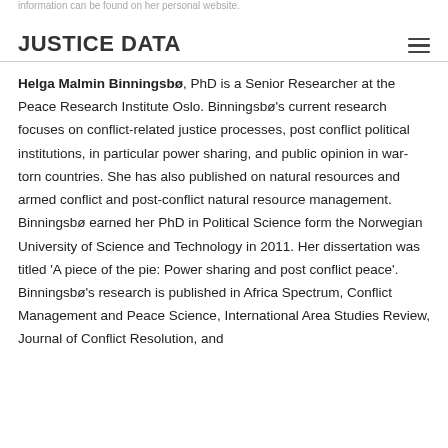information can be found on her personal website.
JUSTICE DATA
Helga Malmin Binningsbø, PhD is a Senior Researcher at the Peace Research Institute Oslo. Binningsbø's current research focuses on conflict-related justice processes, post conflict political institutions, in particular power sharing, and public opinion in war-torn countries. She has also published on natural resources and armed conflict and post-conflict natural resource management. Binningsbø earned her PhD in Political Science form the Norwegian University of Science and Technology in 2011. Her dissertation was titled 'A piece of the pie: Power sharing and post conflict peace'. Binningsbø's research is published in Africa Spectrum, Conflict Management and Peace Science, International Area Studies Review, Journal of Conflict Resolution, and